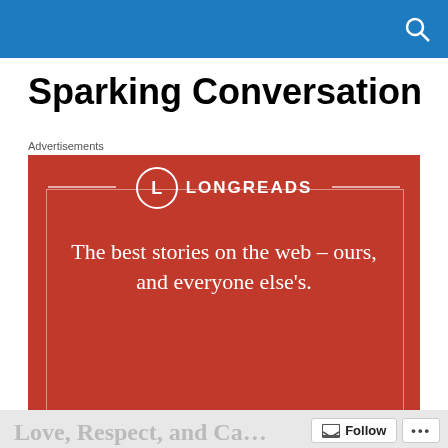Sparking Conversation
Advertisements
[Figure (screenshot): Longreads advertisement: red background with Longreads logo (circle with L), tagline 'The best stories on the web – ours, and everyone else's.', and a dark 'Start reading' button.]
REPORT THIS AD
Love, Respect, and Ca…
Follow